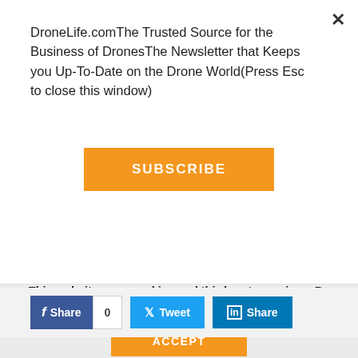DroneLife.comThe Trusted Source for the Business of DronesThe Newsletter that Keeps you Up-To-Date on the Drone World(Press Esc to close this window)
SUBSCRIBE
[Figure (screenshot): Social share buttons: Facebook Share with count 0, Twitter Tweet, LinkedIn Share]
BVLOS Flight, No Visual Observers: Volatus and FlightOps Receive Cert in Canada
Volatus Aerospace with FlightOps OS Receives Canada's First Certificate
This website uses cookies and third party services. By clicking OK, you are agreeing to our privacy policy.
ACCEPT